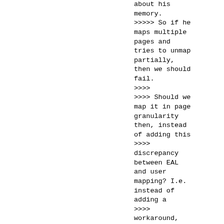about his memory.
>>>>> So if he maps multiple pages and tries to unmap partially, then we should fail.
>>>>
>>>> Should we map it in page granularity then, instead of adding this
>>>> discrepancy between EAL and user mapping? I.e. instead of adding a
>>>> workaround, how about we just do the same thing for user mem mappings?
>>>>